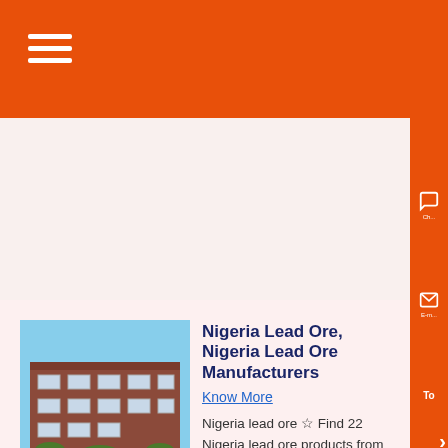≡
[Figure (photo): Exterior photo of a multi-story brick industrial/commercial building with blue sky background]
Nigeria Lead Ore, Nigeria Lead Ore Manufacturers
Know More
Nigeria lead ore ☆ Find 22 Nigeria lead ore products from 17 Nigeria manufacturers & suppliers at EC21 ☆ Choose quality lead ore Manufacturers, Suppliers ....